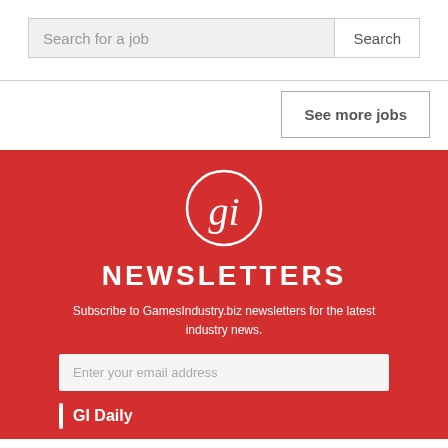Search for a job | Search
See more jobs
[Figure (logo): GamesIndustry.biz gi logo in white circle on red background]
NEWSLETTERS
Subscribe to GamesIndustry.biz newsletters for the latest industry news.
Enter your email address
GI Daily